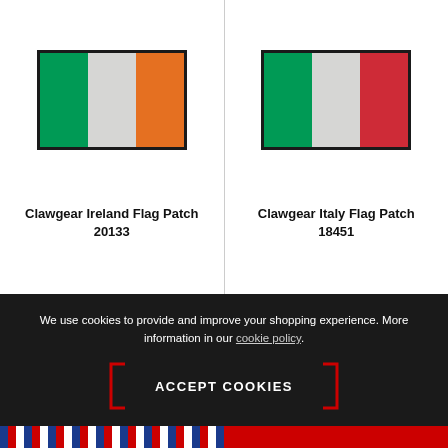[Figure (photo): Clawgear Ireland Flag Patch — embroidered flag patch with dark border showing green, white, and orange vertical stripes (Irish tricolor)]
Clawgear Ireland Flag Patch
20133
[Figure (photo): Clawgear Italy Flag Patch — embroidered flag patch with dark border showing green, white, and red vertical stripes (Italian tricolor)]
Clawgear Italy Flag Patch
18451
We use cookies to provide and improve your shopping experience. More information in our cookie policy.
ACCEPT COOKIES